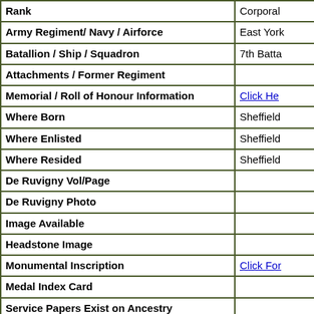| Field | Value |
| --- | --- |
| Rank | Corporal |
| Army Regiment/ Navy / Airforce | East York |
| Batallion / Ship / Squadron | 7th Batta |
| Attachments / Former Regiment |  |
| Memorial / Roll of Honour Information | Click He |
| Where Born | Sheffield |
| Where Enlisted | Sheffield |
| Where Resided | Sheffield |
| De Ruvigny Vol/Page |  |
| De Ruvigny Photo |  |
| Image Available |  |
| Headstone Image |  |
| Monumental Inscription | Click For |
| Medal Index Card |  |
| Service Papers Exist on Ancestry |  |
| CWGC Additional Information |  |
| CWGC Grave / Memorial | Thiepval |
| Prisoner of War |  |
| Newspaper Clipping Date |  |
| Further Information | Brownell |